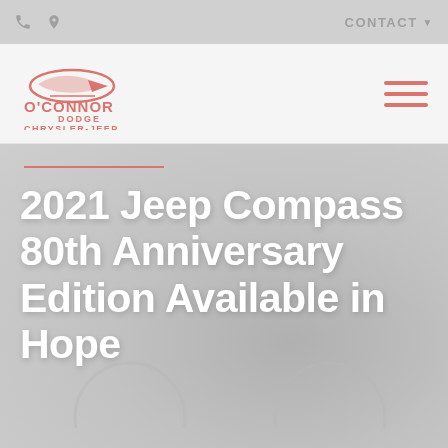CONTACT
[Figure (logo): O'Connor Dodge Chrysler-Jeep dealership logo with stylized car and arrow graphic in salmon/pink color]
2021 Jeep Compass 80th Anniversary Edition Available in Hope